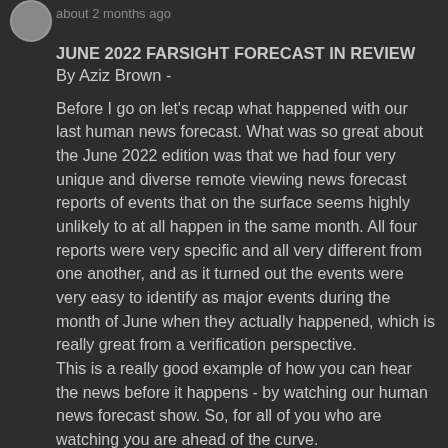about 2 months ago
JUNE 2022 FARSIGHT FORECAST IN REVIEW
By Aziz Brown -
Before I go on let's recap what happened with our last human news forecast. What was so great about the June 2022 edition was that we had four very unique and diverse remote viewing news forecast reports of events that on the surface seems highly unlikely to at all happen in the same month. All four reports were very specific and all very different from one another, and as it turned out the events were very easy to identify as major events during the month of June when they actually happened, which is really great from a verification perspective. This is a really good example of how you can hear the news before it happens - by watching our human news forecast show. So, for all of you who are watching you are ahead of the curve.
So, let's start with the session by SHANTAE. Her